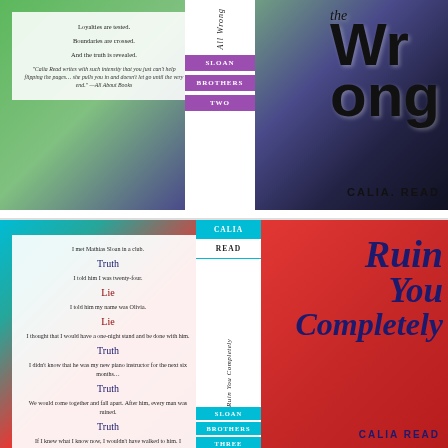[Figure (illustration): Book cover spread for 'All Wrong' by Calia Read (Sloan Brothers Two). Top image shows back cover with blurb text, spine with purple bands labeled SLOAN / BROTHERS / TWO, and front cover with abstract green/purple/black marbled art and title 'All Wrong' in bold black script.]
[Figure (illustration): Book cover spread for 'Ruin You Completely' by Calia Read (Sloan Brothers Three). Bottom image shows back cover with Truth/Lie blurb, spine with teal bands labeled CALIA / READ / SLOAN / BROTHERS / THREE, and front cover with abstract red/teal marbled art and title 'Ruin You Completely' in dark navy script.]